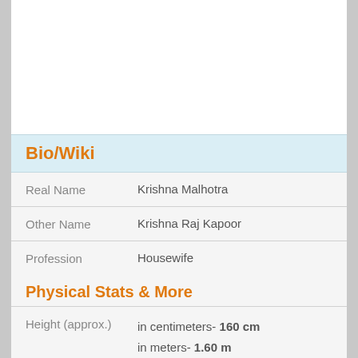Bio/Wiki
| Field | Value |
| --- | --- |
| Real Name | Krishna Malhotra |
| Other Name | Krishna Raj Kapoor |
| Profession | Housewife |
Physical Stats & More
| Field | Value |
| --- | --- |
| Height (approx.) | in centimeters- 160 cm
in meters- 1.60 m
in Feet Inches- 5’ 2” |